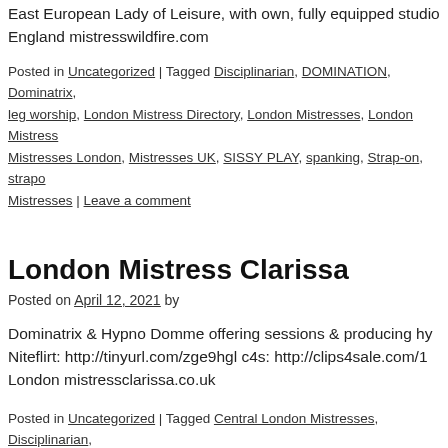East European Lady of Leisure, with own, fully equipped studio England mistresswildfire.com
Posted in Uncategorized | Tagged Disciplinarian, DOMINATION, Dominatrix, leg worship, London Mistress Directory, London Mistresses, London Mistress, Mistresses London, Mistresses UK, SISSY PLAY, spanking, Strap-on, strapon, Mistresses | Leave a comment
London Mistress Clarissa
Posted on April 12, 2021 by
Dominatrix & Hypno Domme offering sessions & producing hy Niteflirt: http://tinyurl.com/zge9hgl c4s: http://clips4sale.com/1 London mistressclarissa.co.uk
Posted in Uncategorized | Tagged Central London Mistresses, Disciplinarian, Mistress, London Mistress Clarissa, London Mistress Directory, London Mistr London, Mistresses London, Strap-on, strapon, Tags#LondonMistresses, UK Mistresses | Leave a comment